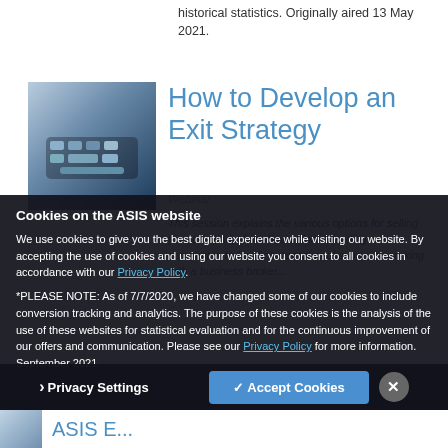historical statistics. Originally aired 13 May 2021.
How to Develop an Exit Strategy
Webinar
This session explains the various options for selling your company, from liquidation, to selling to a competitor, to family succession planning, to working with a business broker...
Cookies on the ASIS website
We use cookies to give you the best digital experience while visiting our website. By accepting the use of cookies and using our website you consent to all cookies in accordance with our Privacy Policy.
*PLEASE NOTE: As of 7/7/2020, we have changed some of our cookies to include conversion tracking and analytics. The purpose of these cookies is the analysis of the use of these websites for statistical evaluation and for the continuous improvement of our offers and communication. Please see our Privacy Policy for more information. September 2021.